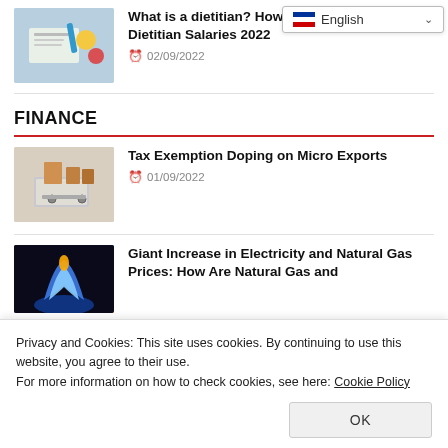[Figure (photo): Person writing at desk with fruits nearby (dietitian article thumbnail)]
What is a dietitian? How to become a dietitian? Dietitian Salaries 2022
02/09/2022
FINANCE
[Figure (photo): Shopping cart with boxes on laptop keyboard (micro exports article thumbnail)]
Tax Exemption Doping on Micro Exports
01/09/2022
[Figure (photo): Blue gas flame (electricity and natural gas article thumbnail)]
Giant Increase in Electricity and Natural Gas Prices: How Are Natural Gas and Electricity Prices Made?
[Figure (screenshot): Language selector dropdown showing English with flag]
Privacy and Cookies: This site uses cookies. By continuing to use this website, you agree to their use.
For more information on how to check cookies, see here: Cookie Policy
OK
[Figure (photo): Calculator (partial, bottom of page)]
Made?